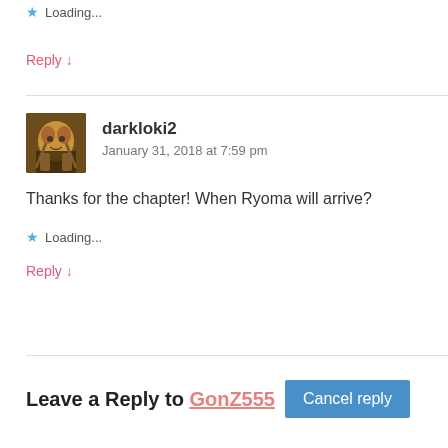Loading...
Reply ↓
darkloki2
January 31, 2018 at 7:59 pm
Thanks for the chapter! When Ryoma will arrive?
Loading...
Reply ↓
Leave a Reply to GonZ555   Cancel reply